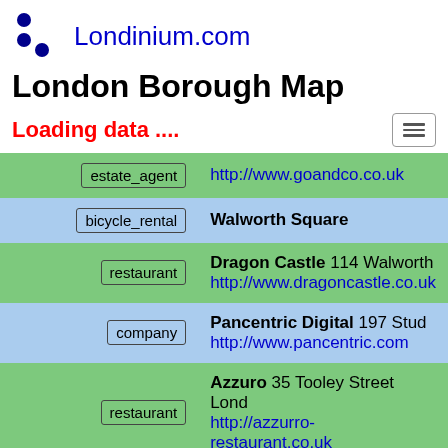Londinium.com
London Borough Map
Loading data ....
| Type | Info |
| --- | --- |
| estate_agent | http://www.goandco.co.uk |
| bicycle_rental | Walworth Square |
| restaurant | Dragon Castle 114 Walworth... http://www.dragoncastle.co.uk |
| company | Pancentric Digital 197 Stud... http://www.pancentric.com |
| restaurant | Azzuro 35 Tooley Street Lond... http://azzurro-restaurant.co.uk |
| printer | Captain Cyan 124 London Ro... https://captaincyan.com |